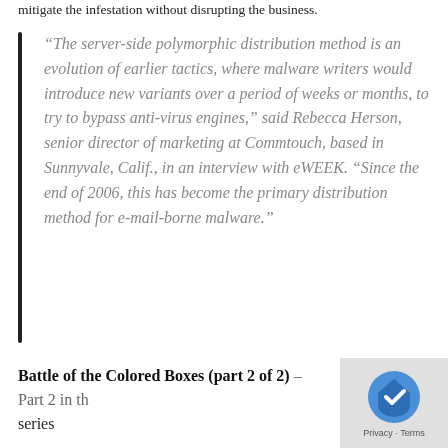mitigate the infestation without disrupting the business.
“The server-side polymorphic distribution method is an evolution of earlier tactics, where malware writers would introduce new variants over a period of weeks or months, to try to bypass anti-virus engines,” said Rebecca Herson, senior director of marketing at Commtouch, based in Sunnyvale, Calif., in an interview with eWEEK. “Since the end of 2006, this has become the primary distribution method for e-mail-borne malware.”
Battle of the Colored Boxes (part 2 of 2) – Part 2 in the series